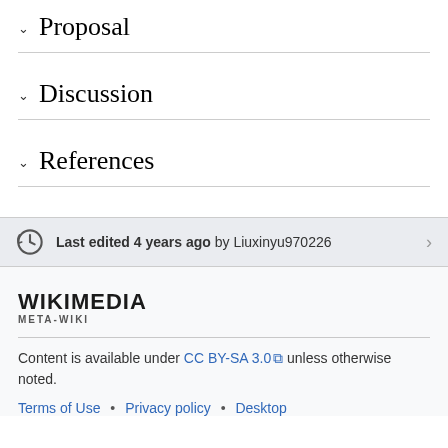Proposal
Discussion
References
Last edited 4 years ago by Liuxinyu970226
[Figure (logo): Wikimedia META-WIKI logo]
Content is available under CC BY-SA 3.0 unless otherwise noted.
Terms of Use • Privacy policy • Desktop